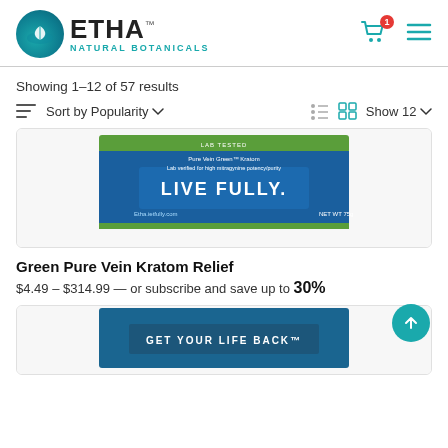[Figure (logo): ETHA Natural Botanicals logo with teal circle and leaf icon]
Showing 1–12 of 57 results
Sort by Popularity ∨   Show 12 ∨
[Figure (photo): Green Pure Vein Kratom Relief product packaging — blue and green bag with LIVE FULLY text]
Green Pure Vein Kratom Relief
$4.49 – $314.99 — or subscribe and save up to 30%
[Figure (photo): Second product card partially visible with GET YOUR LIFE BACK text on blue packaging]